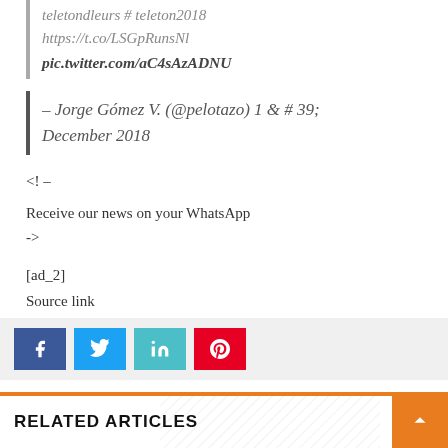teletondleurs # teleton2018
https://t.co/LSGpRunsNl
pic.twitter.com/aC4sAzADNU
– Jorge Gómez V. (@pelotazo) 1 & # 39; December 2018
<! –
Receive our news on your WhatsApp
->
[ad_2]
Source link
[Figure (other): Social share buttons: Facebook, Twitter, LinkedIn, Pinterest]
RELATED ARTICLES